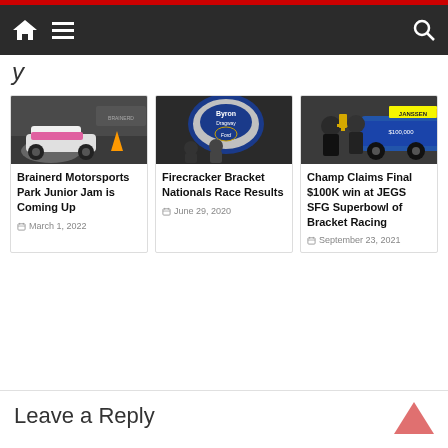Navigation bar with home, menu, and search icons
[Figure (photo): Drag racing car at Brainerd Motorsports Park]
Brainerd Motorsports Park Junior Jam is Coming Up
March 1, 2022
[Figure (photo): Byron Dragway sign with people at Firecracker Bracket Nationals]
Firecracker Bracket Nationals Race Results
June 29, 2020
[Figure (photo): Champion holding trophy at JEGS SFG Superbowl of Bracket Racing]
Champ Claims Final $100K win at JEGS SFG Superbowl of Bracket Racing
September 23, 2021
Leave a Reply